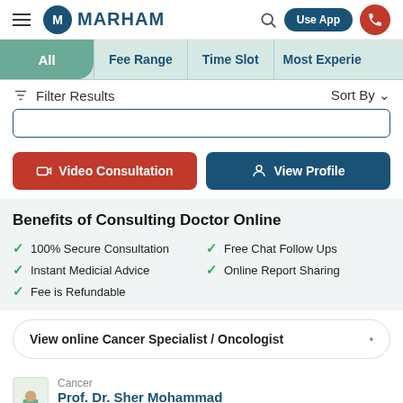MARHAM | Use App
All | Fee Range | Time Slot | Most Experie...
Filter Results  Sort By
[Figure (screenshot): Search input box]
Video Consultation | View Profile
Benefits of Consulting Doctor Online
100% Secure Consultation
Instant Medicial Advice
Fee is Refundable
Free Chat Follow Ups
Online Report Sharing
View online Cancer Specialist / Oncologist
Cancer  Prof. Dr. Sher Mohammad